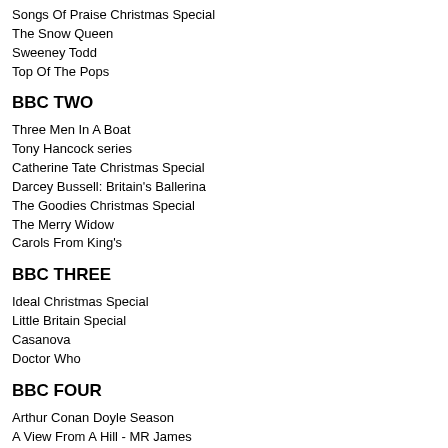Songs Of Praise Christmas Special
The Snow Queen
Sweeney Todd
Top Of The Pops
BBC TWO
Three Men In A Boat
Tony Hancock series
Catherine Tate Christmas Special
Darcey Bussell: Britain's Ballerina
The Goodies Christmas Special
The Merry Widow
Carols From King's
BBC THREE
Ideal Christmas Special
Little Britain Special
Casanova
Doctor Who
BBC FOUR
Arthur Conan Doyle Season
A View From A Hill - MR James
The Barber Of Seville
A Bach Christmas
Black…